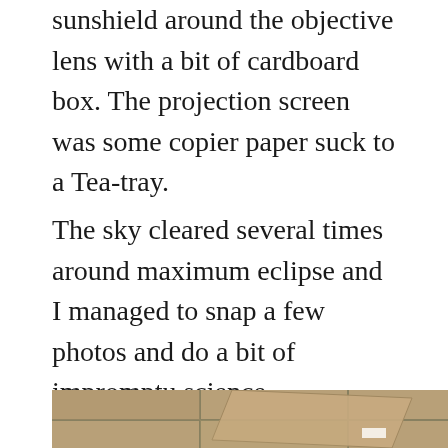sunshield around the objective lens with a bit of cardboard box. The projection screen was some copier paper suck to a Tea-tray.
The sky cleared several times around maximum eclipse and I managed to snap a few photos and do a bit of impromptu science communication with people wondering what I was doing.
[Figure (photo): Photograph showing cardboard pieces on a tiled floor surface, with a piece of lighter-colored cardboard or paper on top.]